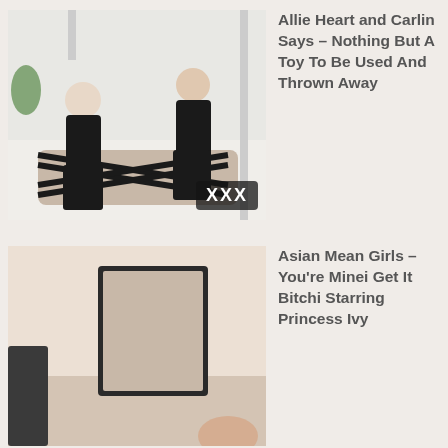[Figure (photo): Photo of two women in black outfits with a restrained person on a bed, with XXX badge overlay]
Allie Heart and Carlin Says – Nothing But A Toy To Be Used And Thrown Away
[Figure (photo): Partial photo of a room scene, light beige tones]
Asian Mean Girls – You're Minei Get It Bitchi Starring Princess Ivy